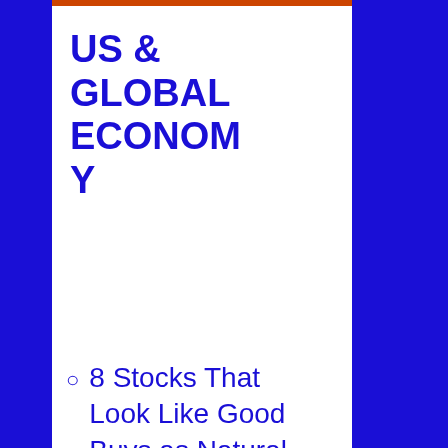US & GLOBAL ECONOMY
8 Stocks That Look Like Good Buys as Natural-Gas Prices Get Pumped Up – Barron's